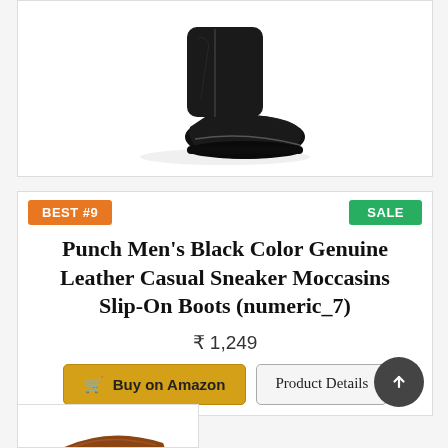[Figure (photo): Black men's leather boot/shoe product photo on white background]
BEST #9
SALE
Punch Men's Black Color Genuine Leather Casual Sneaker Moccasins Slip-On Boots (numeric_7)
₹ 1,249
Buy on Amazon
Product Details